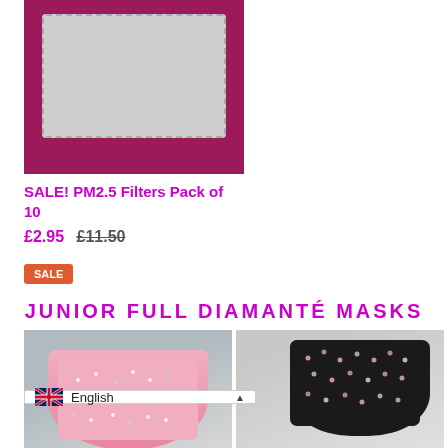[Figure (photo): Product photo of PM2.5 face mask filter on a pink/magenta background, showing a grey rectangular filter with dotted border]
SALE! PM2.5 Filters Pack of 10
£2.95  £11.50
SALE
JUNIOR FULL DIAMANTÉ MASKS
[Figure (photo): Pink diamanté face mask with ear loops on grey background]
[Figure (photo): Black diamanté face mask with ties on grey background]